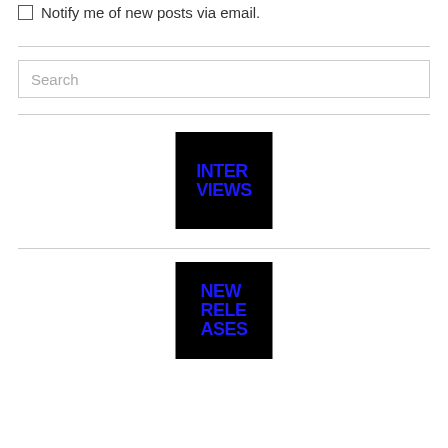Notify me of new posts via email.
[Figure (logo): Black square with blue bold stacked text reading INTER VIEWS]
[Figure (logo): Black square with blue bold stacked text reading NEW RELE ASES]